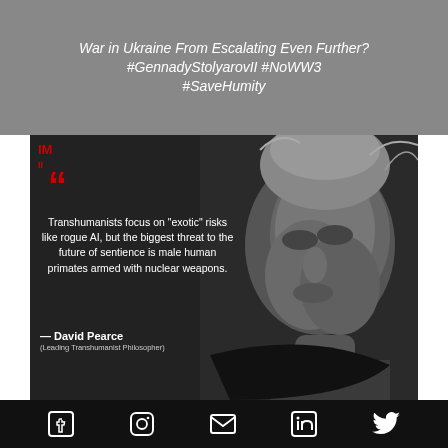War in Ukraine From Escalating Even Further? #GennadyStolyarovII #NoWW3 #SaveHumity
[Figure (photo): Black and white portrait photo of David Pearce (Leading Transhumanist Philosopher) with a red quotation mark and white quote text overlay. Quote: 'Transhumanists focus on "exotic" risks like rogue AI, but the biggest threat to the future of sentience is male human primates armed with nuclear weapons.' — David Pearce (Leading Transhumanist Philosopher). IM logo in red top-left.]
Social media icons: Facebook, Instagram, Email, LinkedIn, Twitter